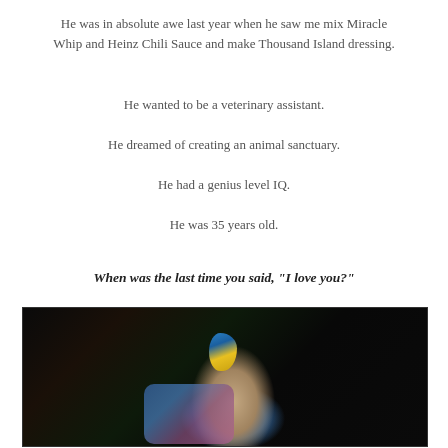He was in absolute awe last year when he saw me mix Miracle Whip and Heinz Chili Sauce and make Thousand Island dressing.
He wanted to be a veterinary assistant.
He dreamed of creating an animal sanctuary.
He had a genius level IQ.
He was 35 years old.
When was the last time you said, "I love you?"
[Figure (photo): A man wearing a floral Hawaiian shirt with a blue and yellow macaw parrot perched on his shoulder, photographed outdoors at night with tropical vegetation in the background.]